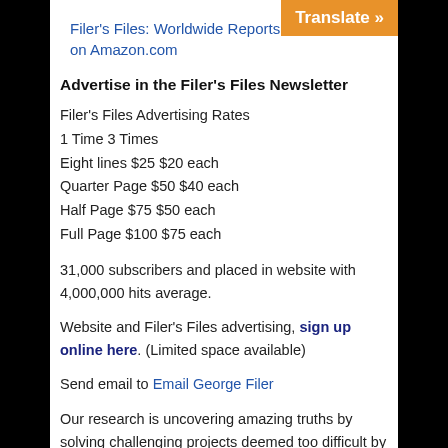Filer's Files: Worldwide Reports of UFO on Amazon.com
Advertise in the Filer's Files Newsletter
Filer's Files Advertising Rates
1 Time 3 Times
Eight lines $25 $20 each
Quarter Page $50 $40 each
Half Page $75 $50 each
Full Page $100 $75 each
31,000 subscribers and placed in website with 4,000,000 hits average.
Website and Filer's Files advertising, sign up online here. (Limited space available)
Send email to Email George Filer
Our research is uncovering amazing truths by solving challenging projects deemed too difficult by other firms. We have had some success in finding missing persons. We could use your help in getting more results from our research. I have put together